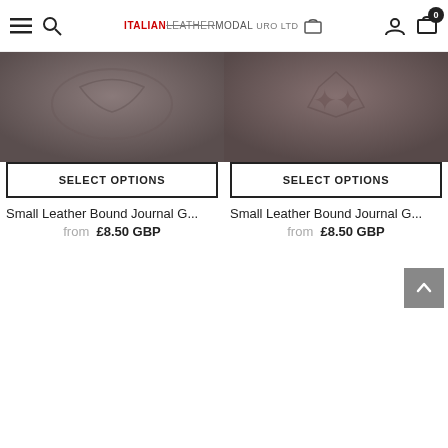ITALIANLEATHERMODALURO LTD — navigation header with hamburger, search, logo, user, cart (0)
[Figure (photo): Close-up photo of a small grey/brown leather bound journal — left product]
SELECT OPTIONS
Small Leather Bound Journal G...
from £8.50 GBP
[Figure (photo): Close-up photo of a small grey/brown leather bound journal with embossed symbol — right product]
SELECT OPTIONS
Small Leather Bound Journal G...
from £8.50 GBP